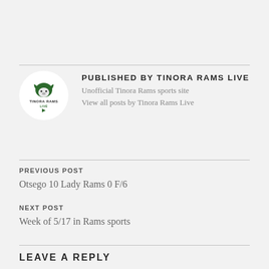[Figure (logo): Tinora Rams Live circular logo with a ram mascot and text TINORA RAMS LIVE]
PUBLISHED BY TINORA RAMS LIVE
Unofficial Tinora Rams sports site
View all posts by Tinora Rams Live
PREVIOUS POST
Otsego 10 Lady Rams 0 F/6
NEXT POST
Week of 5/17 in Rams sports
LEAVE A REPLY